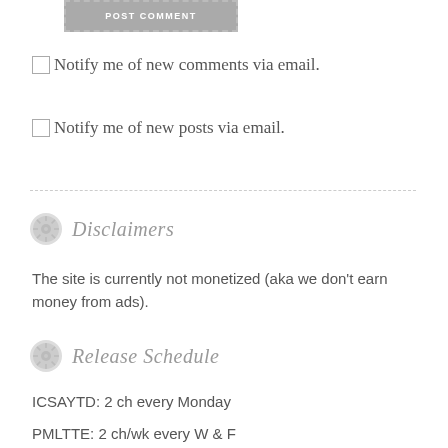[Figure (other): POST COMMENT button with dashed border and grey background]
Notify me of new comments via email.
Notify me of new posts via email.
Disclaimers
The site is currently not monetized (aka we don't earn money from ads).
Release Schedule
ICSAYTD: 2 ch every Monday
PMLTTE: 2 ch/wk every W & F